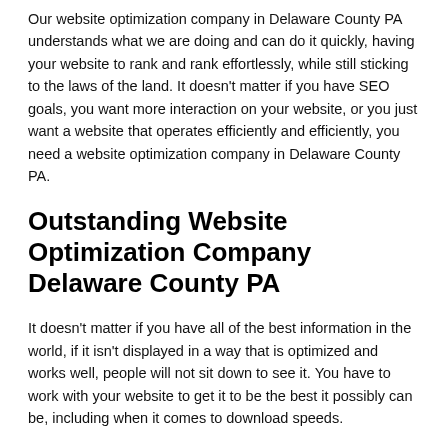Our website optimization company in Delaware County PA understands what we are doing and can do it quickly, having your website to rank and rank effortlessly, while still sticking to the laws of the land. It doesn't matter if you have SEO goals, you want more interaction on your website, or you just want a website that operates efficiently and efficiently, you need a website optimization company in Delaware County PA.
Outstanding Website Optimization Company Delaware County PA
It doesn't matter if you have all of the best information in the world, if it isn't displayed in a way that is optimized and works well, people will not sit down to see it. You have to work with your website to get it to be the best it possibly can be, including when it comes to download speeds.
It doesn't matter if your website has a ton of content or it doesn't have much at all, it still needs optimization. Even better, putting content that is already optimized will enable to keep your website consistently ranking on Google.